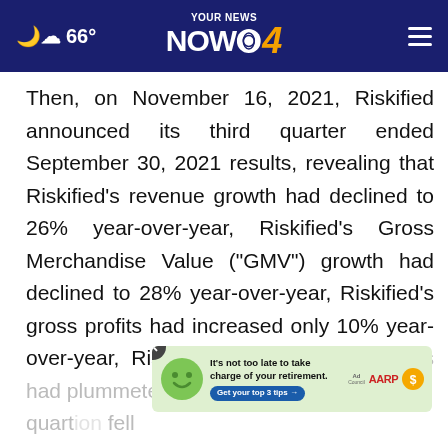66° YOUR NEWS NOW CBS 4
Then, on November 16, 2021, Riskified announced its third quarter ended September 30, 2021 results, revealing that Riskified's revenue growth had declined to 26% year-over-year, Riskified's Gross Merchandise Value ("GMV") growth had declined to 28% year-over-year, Riskified's gross profits had increased only 10% year-over-year, Riskified's gross profit margins had plummeted to just 46% during the quarter, fell sequentially to $24.2 million. Further, Riskified
[Figure (screenshot): Advertisement overlay: It's not too late to take charge of your retirement. Get your top 3 tips. Ad Council AARP logos. Green cartoon mascot face. Close button (X).]